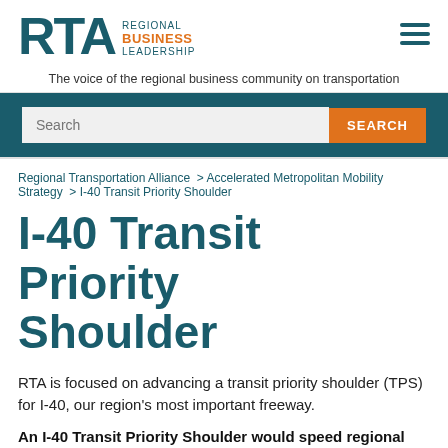[Figure (logo): RTA Regional Business Leadership logo with teal RTA letters and orange BUSINESS text]
The voice of the regional business community on transportation
Search
Regional Transportation Alliance > Accelerated Metropolitan Mobility Strategy > I-40 Transit Priority Shoulder
I-40 Transit Priority Shoulder
RTA is focused on advancing a transit priority shoulder (TPS) for I-40, our region's most important freeway.
An I-40 Transit Priority Shoulder would speed regional